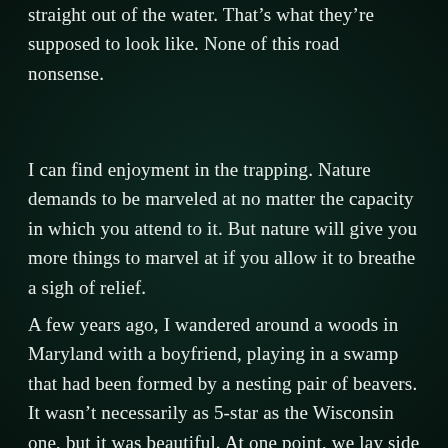straight out of the water. That's what they're supposed to look like. None of this road nonsense.
I can find enjoyment in the trapping. Nature demands to be marveled at no matter the capacity in which you attend to it. But nature will give you more things to marvel at if you allow it to breathe a sigh of relief.
A few years ago, I wandered around a woods in Maryland with a boyfriend, playing in a swamp that had been formed by a nesting pair of beavers. It wasn't necessarily as 5-star as the Wisconsin one, but it was beautiful. At one point, we lay side by side on our stomachs,